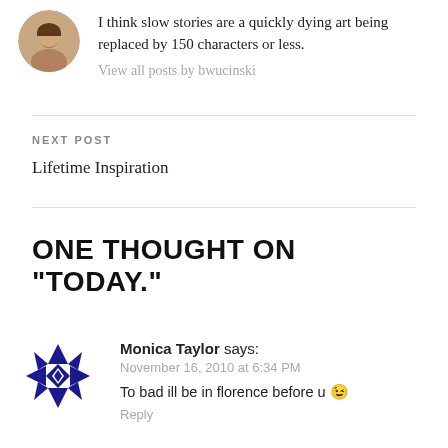I think slow stories are a quickly dying art being replaced by 150 characters or less.
View all posts by bwucinski
NEXT POST
Lifetime Inspiration
ONE THOUGHT ON “TODAY.”
Monica Taylor says:
November 16, 2010 at 6:34 PM
To bad ill be in florence before u 😉
Reply